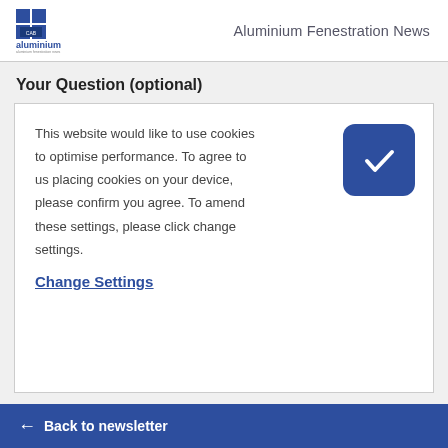aluminium | Aluminium Fenestration News
Your Question (optional)
This website would like to use cookies to optimise performance. To agree to us placing cookies on your device, please confirm you agree. To amend these settings, please click change settings.
Change Settings
← Back to newsletter